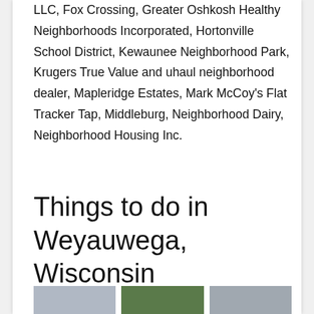LLC, Fox Crossing, Greater Oshkosh Healthy Neighborhoods Incorporated, Hortonville School District, Kewaunee Neighborhood Park, Krugers True Value and uhaul neighborhood dealer, Mapleridge Estates, Mark McCoy's Flat Tracker Tap, Middleburg, Neighborhood Dairy, Neighborhood Housing Inc.
Things to do in Weyauwega, Wisconsin
[Figure (photo): Three photos partially visible at bottom of page showing buildings and outdoor scenes in Weyauwega, Wisconsin]